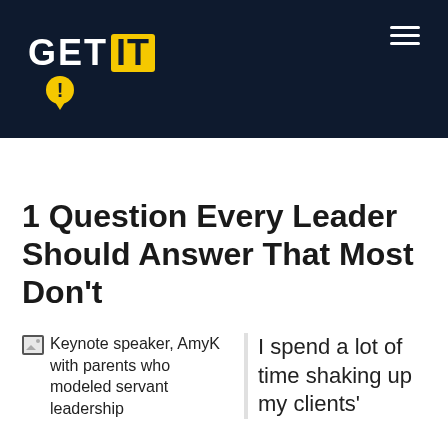GET IT
1 Question Every Leader Should Answer That Most Don't
[Figure (illustration): Broken image placeholder with caption: Keynote speaker, AmyK with parents who modeled servant leadership]
I spend a lot of time shaking up my clients'